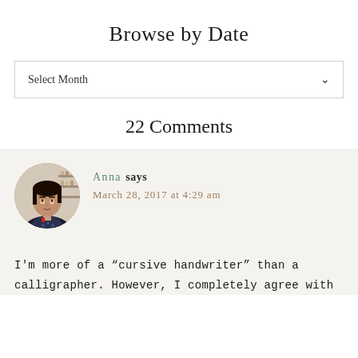Browse by Date
Select Month
22 Comments
Anna says
March 28, 2017 at 4:29 am
I'm more of a “cursive handwriter” than a calligrapher. However, I completely agree with